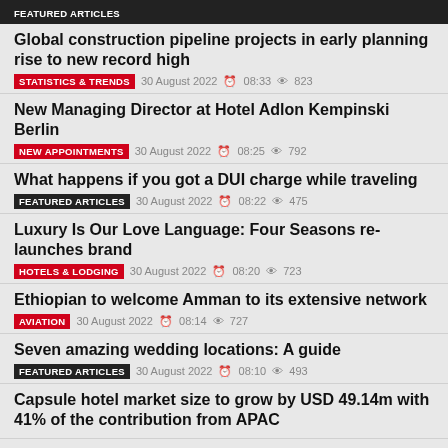FEATURED ARTICLES
Global construction pipeline projects in early planning rise to new record high
STATISTICS & TRENDS  30 August 2022  08:33  823
New Managing Director at Hotel Adlon Kempinski Berlin
NEW APPOINTMENTS  30 August 2022  08:25  792
What happens if you got a DUI charge while traveling
FEATURED ARTICLES  30 August 2022  08:22  475
Luxury Is Our Love Language: Four Seasons re-launches brand
HOTELS & LODGING  30 August 2022  08:20  723
Ethiopian to welcome Amman to its extensive network
AVIATION  30 August 2022  08:14  727
Seven amazing wedding locations: A guide
FEATURED ARTICLES  30 August 2022  08:10  493
Capsule hotel market size to grow by USD 49.14m with 41% of the contribution from APAC